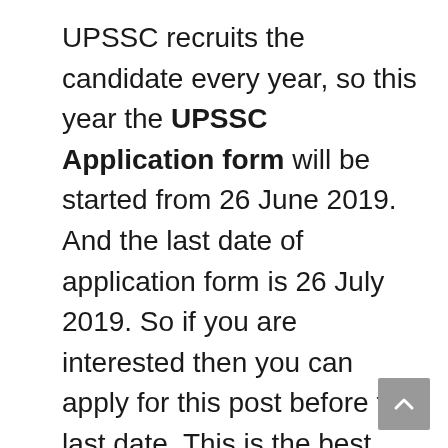UPSSC recruits the candidate every year, so this year the UPSSC Application form will be started from 26 June 2019. And the last date of application form is 26 July 2019. So if you are interested then you can apply for this post before the last date. This is the best opportunity for those students, who are looking at government jobs. And the total vacancies is 1186. For more government jobs, you can visit our website sarkarinaukriexams.net.